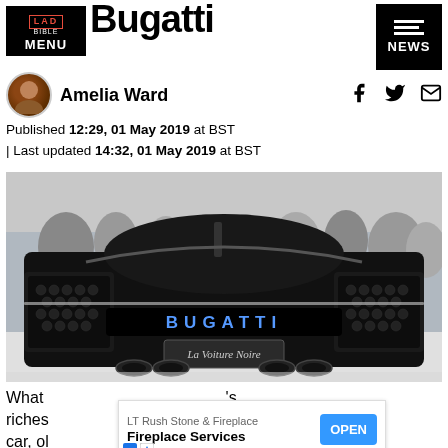Bugatti
Amelia Ward
Published 12:29, 01 May 2019 at BST
| Last updated 14:32, 01 May 2019 at BST
[Figure (photo): Rear view of a black Bugatti La Voiture Noire supercar at an auto show, with BUGATTI logo illuminated in blue LEDs on the rear diffuser, crowd visible in background.]
What is the world's most expensive car, ol... riches ... ensive car, ol...